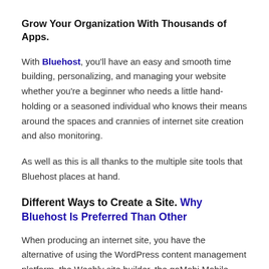Grow Your Organization With Thousands of Apps.
With Bluehost, you'll have an easy and smooth time building, personalizing, and managing your website whether you're a beginner who needs a little hand-holding or a seasoned individual who knows their means around the spaces and crannies of internet site creation and also monitoring.
As well as this is all thanks to the multiple site tools that Bluehost places at hand.
Different Ways to Create a Site. Why Bluehost Is Preferred Than Other
When producing an internet site, you have the alternative of using the WordPress content management platform, the Weebly site builder, the goMobi Mobile Web Building contractor, or publishing data utilizing FTP or Submit Supervisor.